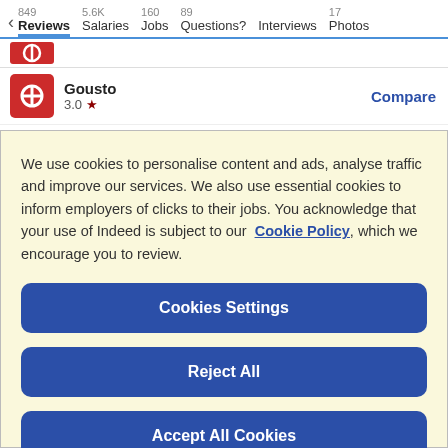849 Reviews | 5.6K Salaries | 160 Jobs | 89 Questions? | Interviews | 17 Photos
Gousto 3.0 ★ Compare
We use cookies to personalise content and ads, analyse traffic and improve our services. We also use essential cookies to inform employers of clicks to their jobs. You acknowledge that your use of Indeed is subject to our Cookie Policy, which we encourage you to review.
Cookies Settings
Reject All
Accept All Cookies